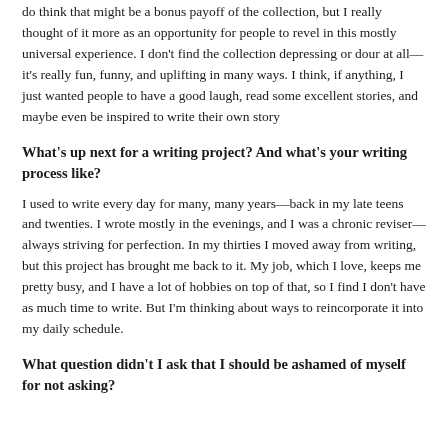do think that might be a bonus payoff of the collection, but I really thought of it more as an opportunity for people to revel in this mostly universal experience. I don't find the collection depressing or dour at all—it's really fun, funny, and uplifting in many ways. I think, if anything, I just wanted people to have a good laugh, read some excellent stories, and maybe even be inspired to write their own story
What's up next for a writing project? And what's your writing process like?
I used to write every day for many, many years—back in my late teens and twenties. I wrote mostly in the evenings, and I was a chronic reviser—always striving for perfection. In my thirties I moved away from writing, but this project has brought me back to it. My job, which I love, keeps me pretty busy, and I have a lot of hobbies on top of that, so I find I don't have as much time to write. But I'm thinking about ways to reincorporate it into my daily schedule.
What question didn't I ask that I should be ashamed of myself for not asking?